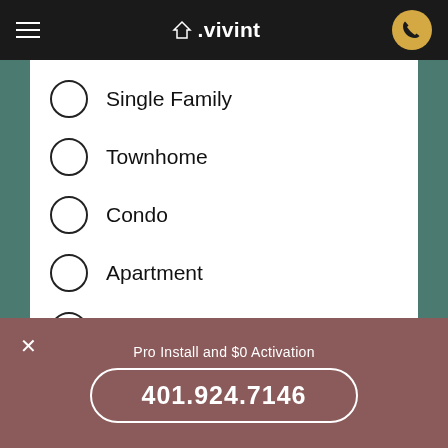vivint
Single Family
Townhome
Condo
Apartment
Trailer
Other
Pro Install and $0 Activation
401.924.7146